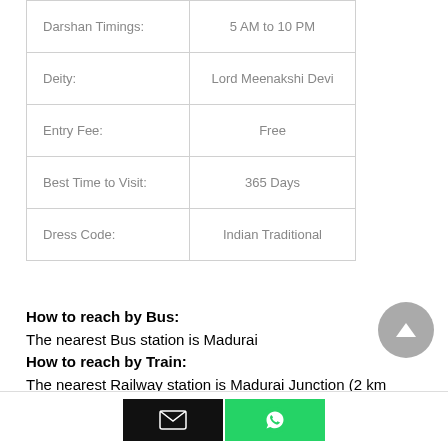|  |  |
| --- | --- |
| Darshan Timings: | 5 AM to 10 PM |
| Deity: | Lord Meenakshi Devi |
| Entry Fee: | Free |
| Best Time to Visit: | 365 Days |
| Dress Code: | Indian Traditional |
How to reach by Bus:
The nearest Bus station is Madurai
How to reach by Train:
The nearest Railway station is Madurai Junction (2 km
How to reach by Flight: